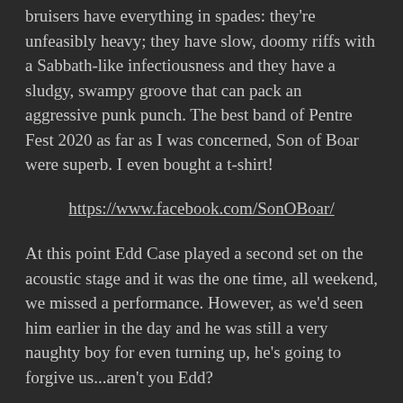bruisers have everything in spades: they're unfeasibly heavy; they have slow, doomy riffs with a Sabbath-like infectiousness and they have a sludgy, swampy groove that can pack an aggressive punk punch. The best band of Pentre Fest 2020 as far as I was concerned, Son of Boar were superb. I even bought a t-shirt!
https://www.facebook.com/SonOBoar/
At this point Edd Case played a second set on the acoustic stage and it was the one time, all weekend, we missed a performance. However, as we'd seen him earlier in the day and he was still a very naughty boy for even turning up, he's going to forgive us...aren't you Edd?